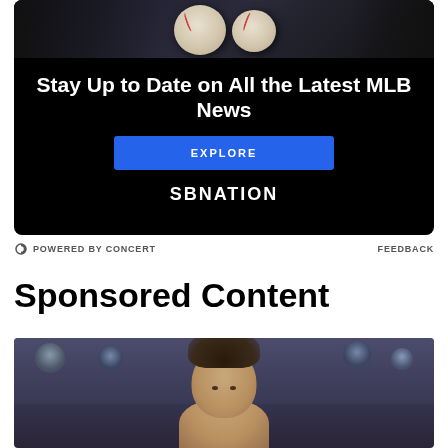[Figure (infographic): SB Nation MLB advertisement. Dark background with baseball photo at top. Text reads 'Stay Up to Date on All the Latest MLB News' with a blue EXPLORE button and SBNATION logo.]
POWERED BY CONCERT   FEEDBACK
Sponsored Content
[Figure (photo): Photo of a person (appears to be a woman with dark hair) at what looks like a red carpet event with photographers/crowd in background.]